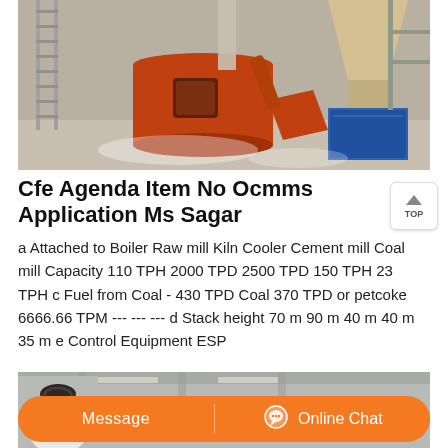[Figure (photo): Industrial machinery inside a warehouse — a large orange/rust-colored grinding mill or pulverizer with attached pipes, conveyors, and a blue rectangular container. White powder dust visible on the floor.]
Cfe Agenda Item No Ocmms Application Ms Sagar
a Attached to Boiler Raw mill Kiln Cooler Cement mill Coal mill Capacity 110 TPH 2000 TPD 2500 TPD 150 TPH 23 TPH c Fuel from Coal - 430 TPD Coal 370 TPD or petcoke 6666.66 TPM --- --- --- d Stack height 70 m 90 m 40 m 40 m 35 m e Control Equipment ESP
[Figure (photo): Bottom portion of a webpage showing a customer service representative (woman with headset) partially visible on the left, with an orange chat bar overlay containing 'Message' and 'Online Chat' buttons.]